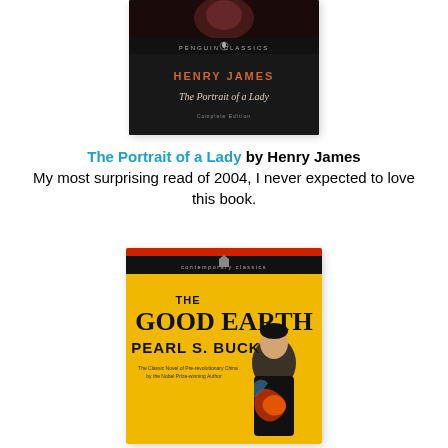[Figure (photo): Book cover of 'The Portrait of a Lady' by Henry James, Penguin Classics edition. Dark background with author name in orange/gold letters and italic title text.]
The Portrait of a Lady by Henry James
My most surprising read of 2004, I never expected to love this book.
[Figure (photo): Book cover of 'The Good Earth' by Pearl S. Buck, Contemporary Classics edition. Yellow/golden background with illustration of a Chinese woman in traditional dress with dragon motifs.]